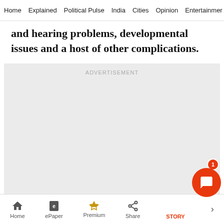Home  Explained  Political Pulse  India  Cities  Opinion  Entertainment
and hearing problems, developmental issues and a host of other complications.
[Figure (other): Advertisement placeholder box with 'ADVERTISEMENT' label in gray text on light gray background]
Home  ePaper  Premium  Share  STORY